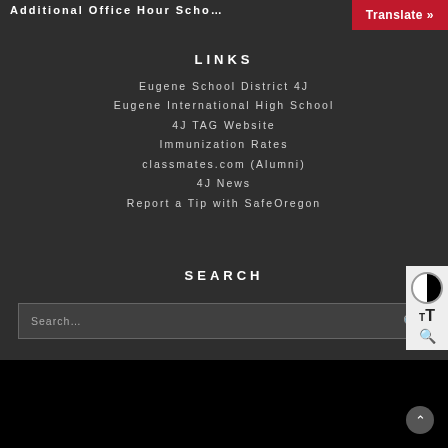Additional Office Hour Scho…
LINKS
Eugene School District 4J
Eugene International High School
4J TAG Website
Immunization Rates
classmates.com (Alumni)
4J News
Report a Tip with SafeOregon
SEARCH
Search…